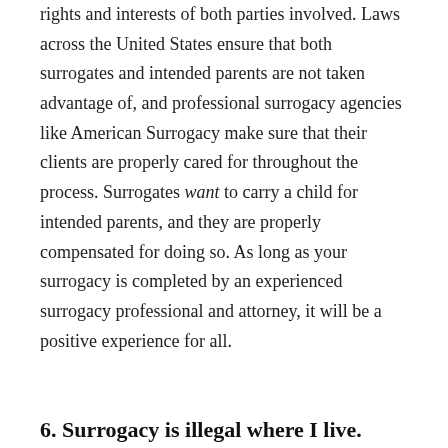rights and interests of both parties involved. Laws across the United States ensure that both surrogates and intended parents are not taken advantage of, and professional surrogacy agencies like American Surrogacy make sure that their clients are properly cared for throughout the process. Surrogates want to carry a child for intended parents, and they are properly compensated for doing so. As long as your surrogacy is completed by an experienced surrogacy professional and attorney, it will be a positive experience for all.
6. Surrogacy is illegal where I live.
There are some states that have strictly defined laws regarding surrogacy and other states that do not — but just because your state doesn't have any surrogacy laws doesn't mean that surrogacy is not legal for you. Lawyers in these states have created specific legal processes to complete surrogacies in a way that protects all involved; it may even be easier to complete a surrogacy in one of these situations. Other surif...